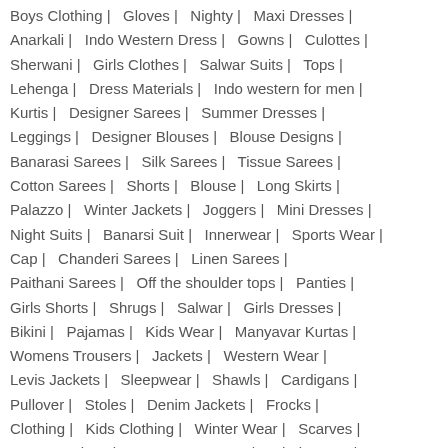Boys Clothing | Gloves | Nighty | Maxi Dresses |
Anarkali | Indo Western Dress | Gowns | Culottes |
Sherwani | Girls Clothes | Salwar Suits | Tops |
Lehenga | Dress Materials | Indo western for men |
Kurtis | Designer Sarees | Summer Dresses |
Leggings | Designer Blouses | Blouse Designs |
Banarasi Sarees | Silk Sarees | Tissue Sarees |
Cotton Sarees | Shorts | Blouse | Long Skirts |
Palazzo | Winter Jackets | Joggers | Mini Dresses |
Night Suits | Banarsi Suit | Innerwear | Sports Wear |
Cap | Chanderi Sarees | Linen Sarees |
Paithani Sarees | Off the shoulder tops | Panties |
Girls Shorts | Shrugs | Salwar | Girls Dresses |
Bikini | Pajamas | Kids Wear | Manyavar Kurtas |
Womens Trousers | Jackets | Western Wear |
Levis Jackets | Sleepwear | Shawls | Cardigans |
Pullover | Stoles | Denim Jackets | Frocks |
Clothing | Kids Clothing | Winter Wear | Scarves |
Sports Jackets | Georgette Sarees | Ethnic Wear |
Briefs & Trunks | Sarees | Kurtis | ...